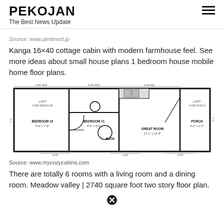PEKOJAN
The Best News Update
Source: www.pinterest.jp
Kanga 16×40 cottage cabin with modern farmhouse feel. See more ideas about small house plans 1 bedroom house mobile home floor plans.
[Figure (engineering-diagram): Floor plan of a Kanga 16x40 cottage cabin showing Bedroom #2, Bedroom #1, Bath, Great Room, Loft areas, and Porch with dimensions labeled.]
Source: www.mycozycabins.com
There are totally 6 rooms with a living room and a dining room. Meadow valley | 2740 square foot two story floor plan.
[Figure (other): Close/cancel button icon (circle with X)]